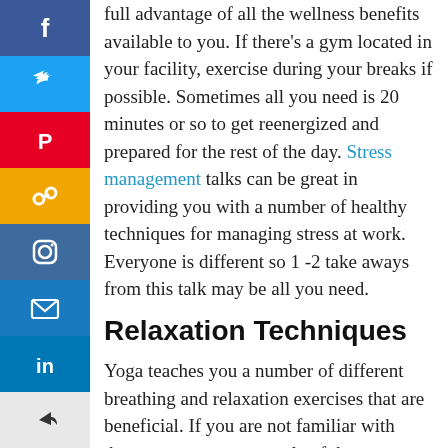full advantage of all the wellness benefits available to you. If there’s a gym located in your facility, exercise during your breaks if possible. Sometimes all you need is 20 minutes or so to get reenergized and prepared for the rest of the day. Stress management talks can be great in providing you with a number of healthy techniques for managing stress at work. Everyone is different so 1 -2 take aways from this talk may be all you need.
Relaxation Techniques
Yoga teaches you a number of different breathing and relaxation exercises that are beneficial. If you are not familiar with them, you can try a couple of these suggestions. Take a slow deep breath through your nose and hold your breath for a count of 3 then